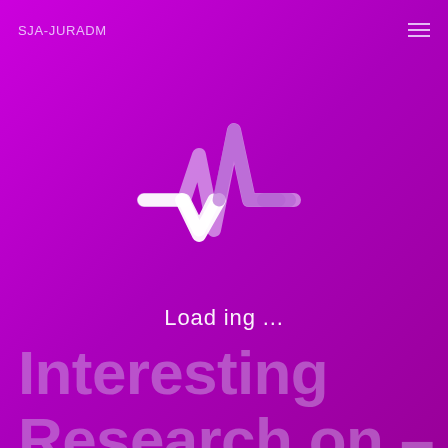SJA-JURADM
[Figure (logo): Heartbeat / pulse waveform logo icon in light purple and white on purple background]
Load ing ...
Interesting Research on – Things You Probably Never K...